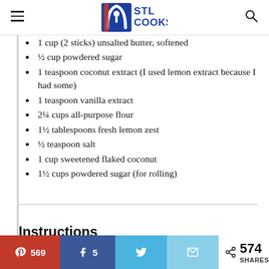STL COOKS
1 cup (2 sticks) unsalted butter, softened
½ cup powdered sugar
1 teaspoon coconut extract (I used lemon extract because I had some)
1 teaspoon vanilla extract
2¼ cups all-purpose flour
1½ tablespoons fresh lemon zest
½ teaspoon salt
1 cup sweetened flaked coconut
1½ cups powdered sugar (for rolling)
Instructions
569  5  574 SHARES